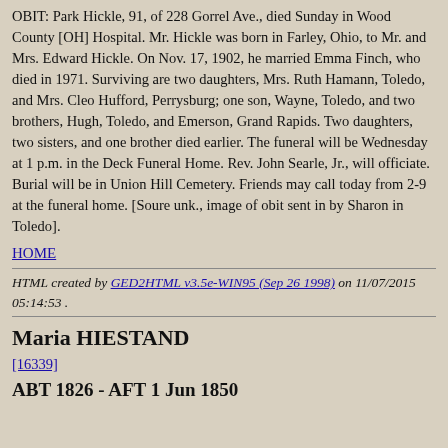OBIT: Park Hickle, 91, of 228 Gorrel Ave., died Sunday in Wood County [OH] Hospital. Mr. Hickle was born in Farley, Ohio, to Mr. and Mrs. Edward Hickle. On Nov. 17, 1902, he married Emma Finch, who died in 1971. Surviving are two daughters, Mrs. Ruth Hamann, Toledo, and Mrs. Cleo Hufford, Perrysburg; one son, Wayne, Toledo, and two brothers, Hugh, Toledo, and Emerson, Grand Rapids. Two daughters, two sisters, and one brother died earlier. The funeral will be Wednesday at 1 p.m. in the Deck Funeral Home. Rev. John Searle, Jr., will officiate. Burial will be in Union Hill Cemetery. Friends may call today from 2-9 at the funeral home. [Soure unk., image of obit sent in by Sharon in Toledo].
HOME
HTML created by GED2HTML v3.5e-WIN95 (Sep 26 1998) on 11/07/2015 05:14:53 .
Maria HIESTAND
[16339]
ABT 1826 - AFT 1 Jun 1850